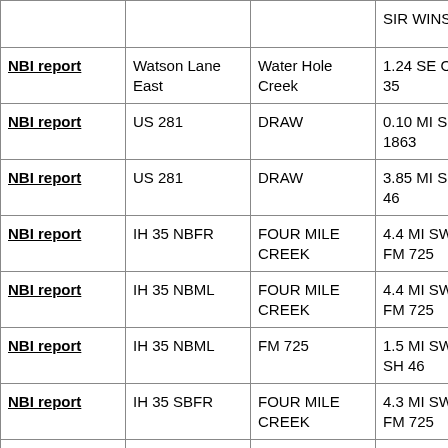|  |  |  | SIR WINSTON |
| NBI report | Watson Lane East | Water Hole Creek | 1.24 SE OF IH 35 |
| NBI report | US 281 | DRAW | 0.10 MI S OF FM 1863 |
| NBI report | US 281 | DRAW | 3.85 MI S OF SH 46 |
| NBI report | IH 35 NBFR | FOUR MILE CREEK | 4.4 MI SW OF FM 725 |
| NBI report | IH 35 NBML | FOUR MILE CREEK | 4.4 MI SW OF FM 725 |
| NBI report | IH 35 NBML | FM 725 | 1.5 MI SW OF SH 46 |
| NBI report | IH 35 SBFR | FOUR MILE CREEK | 4.3 MI SW OF FM 725 |
| NBI report | IH 35 SBML | FOUR MILE CREEK | 4.4 MI SW OF FM 725 |
| NBI report | IH 35 SBML | FM 725 | 1.5 MI SW OF |